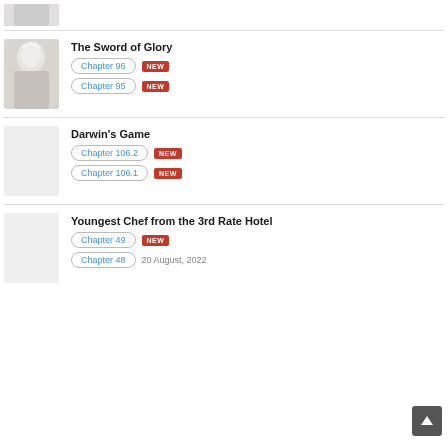[Figure (illustration): Partial manga cover thumbnail at top, cropped]
The Sword of Glory
Chapter 96 NEW
Chapter 95 NEW
Darwin's Game
Chapter 106.2 NEW
Chapter 106.1 NEW
Youngest Chef from the 3rd Rate Hotel
Chapter 49 NEW
Chapter 48 20 August, 2022